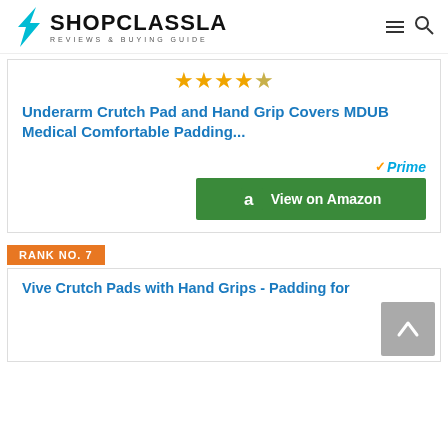SHOPCLASSLA REVIEWS & BUYING GUIDE
[Figure (other): Star rating: 4 out of 5 stars (4 filled, 1 half/empty)]
Underarm Crutch Pad and Hand Grip Covers MDUB Medical Comfortable Padding...
[Figure (logo): Amazon Prime badge with checkmark]
[Figure (other): View on Amazon green button with Amazon 'a' logo]
RANK NO. 7
Vive Crutch Pads with Hand Grips - Padding for